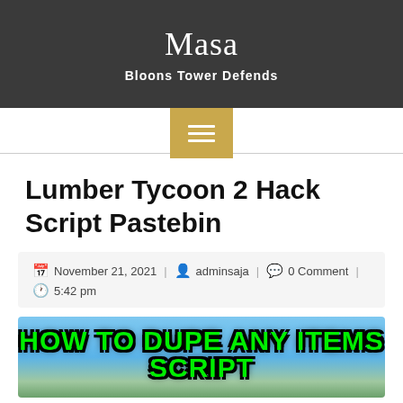Masa
Bloons Tower Defends
Lumber Tycoon 2 Hack Script Pastebin
November 21, 2021 | adminsaja | 0 Comment | 5:42 pm
[Figure (photo): HOW TO DUPE ANY ITEMS SCRIPT banner image with green bold text over a Roblox game screenshot background]